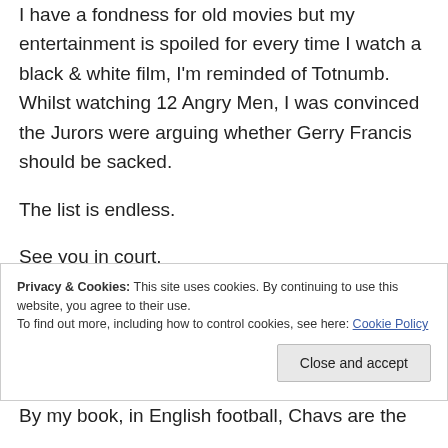I have a fondness for old movies but my entertainment is spoiled for every time I watch a black & white film, I'm reminded of Totnumb. Whilst watching 12 Angry Men, I was convinced the Jurors were arguing whether Gerry Francis should be sacked.
The list is endless.
See you in court.
Privacy & Cookies: This site uses cookies. By continuing to use this website, you agree to their use. To find out more, including how to control cookies, see here: Cookie Policy
Close and accept
By my book, in English football, Chavs are the